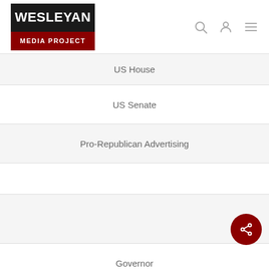[Figure (logo): Wesleyan Media Project logo — black top with 'WESLEYAN' in white, dark red bottom with 'MEDIA PROJECT' in white]
US House
US Senate
Pro-Republican Advertising
Governor
US House
US Senate
2014 Midterms